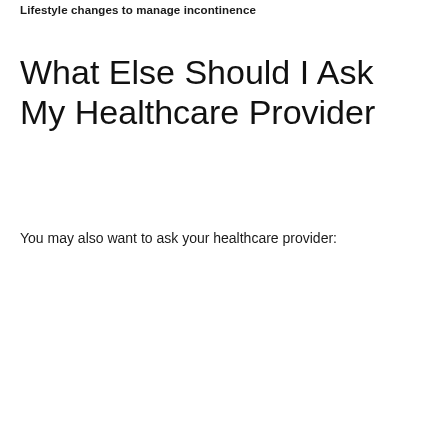Lifestyle changes to manage incontinence
What Else Should I Ask My Healthcare Provider
You may also want to ask your healthcare provider: